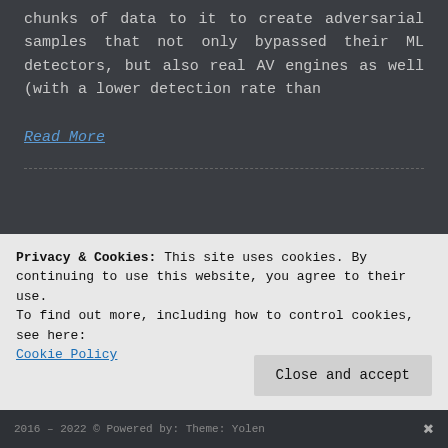chunks of data to it to create adversarial samples that not only bypassed their ML detectors, but also real AV engines as well (with a lower detection rate than
Read More
Search
Sort by:
Privacy & Cookies: This site uses cookies. By continuing to use this website, you agree to their use.
To find out more, including how to control cookies, see here: Cookie Policy
Close and accept
2016 – 2022 · Powered by: Theme: Yolen